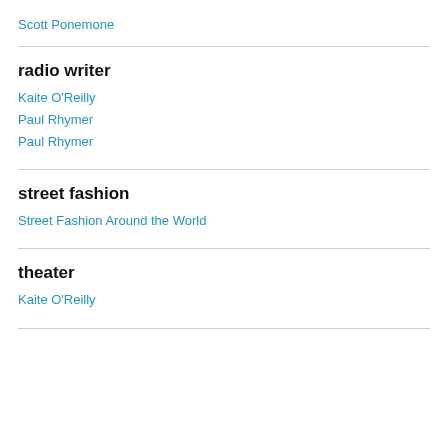Scott Ponemone
radio writer
Kaite O'Reilly
Paul Rhymer
Paul Rhymer
street fashion
Street Fashion Around the World
theater
Kaite O'Reilly